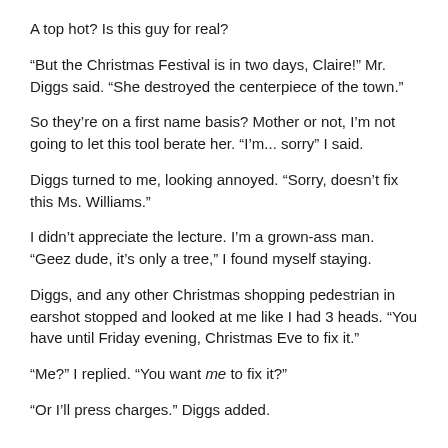A top hot? Is this guy for real?
“But the Christmas Festival is in two days, Claire!” Mr. Diggs said. “She destroyed the centerpiece of the town.”
So they’re on a first name basis? Mother or not, I’m not going to let this tool berate her. “I’m... sorry” I said.
Diggs turned to me, looking annoyed. “Sorry, doesn’t fix this Ms. Williams.”
I didn’t appreciate the lecture. I’m a grown-ass man. “Geez dude, it’s only a tree,” I found myself staying.
Diggs, and any other Christmas shopping pedestrian in earshot stopped and looked at me like I had 3 heads. “You have until Friday evening, Christmas Eve to fix it.”
“Me?” I replied. “You want me to fix it?”
“Or I’ll press charges.” Diggs added.